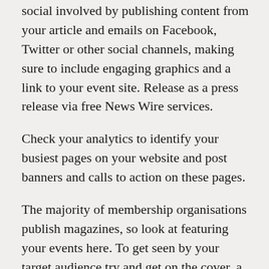social involved by publishing content from your article and emails on Facebook, Twitter or other social channels, making sure to include engaging graphics and a link to your event site. Release as a press release via free News Wire services.
Check your analytics to identify your busiest pages on your website and post banners and calls to action on these pages.
The majority of membership organisations publish magazines, so look at featuring your events here. To get seen by your target audience try and get on the cover, a story in the main section or as an insert.
If your event is a minimum of 3 months away and has some longevity, then you could consider search engine optimisation (SEO). Carefully balancing the